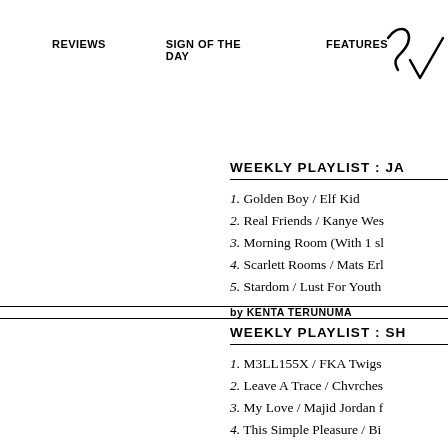REVIEWS    SIGN OF THE DAY    FEATURES
[Figure (logo): Stylized checkmark/logo graphic in top right corner]
WEEKLY PLAYLIST : JA
1. Golden Boy / Elf Kid
2. Real Friends / Kanye Wes
3. Morning Room (With 1 sl
4. Scarlett Rooms / Mats Erl
5. Stardom / Lust For Youth
by KENTA TERUNUMA
WEEKLY PLAYLIST : SH
1. M3LL155X / FKA Twigs
2. Leave A Trace / Chvrches
3. My Love / Majid Jordan f
4. This Simple Pleasure / Bi